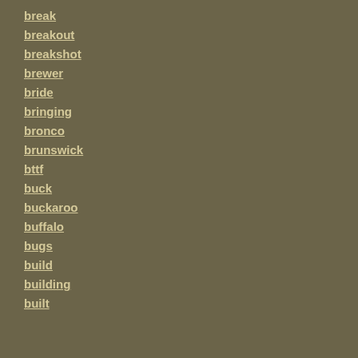break
breakout
breakshot
brewer
bride
bringing
bronco
brunswick
bttf
buck
buckaroo
buffalo
bugs
build
building
built